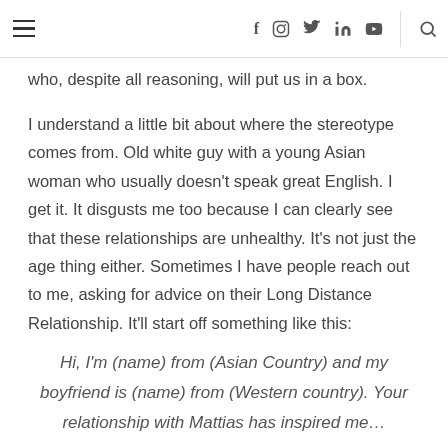[hamburger menu] [f] [instagram] [twitter] [linkedin] [youtube] [search]
who, despite all reasoning, will put us in a box.
I understand a little bit about where the stereotype comes from. Old white guy with a young Asian woman who usually doesn't speak great English. I get it. It disgusts me too because I can clearly see that these relationships are unhealthy. It's not just the age thing either. Sometimes I have people reach out to me, asking for advice on their Long Distance Relationship. It'll start off something like this:
Hi, I'm (name) from (Asian Country) and my boyfriend is (name) from (Western country). Your relationship with Mattias has inspired me…